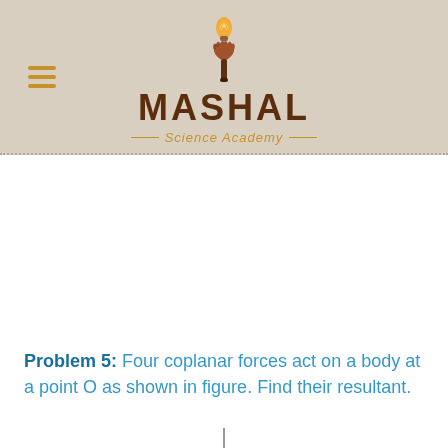[Figure (logo): Mashal Science Academy logo with torch icon, MASHAL text in dark brown, and Science Academy subtitle in gold italic with decorative lines, on a tan/beige background with hamburger menu icon]
Problem 5: Four coplanar forces act on a body at a point O as shown in figure. Find their resultant.